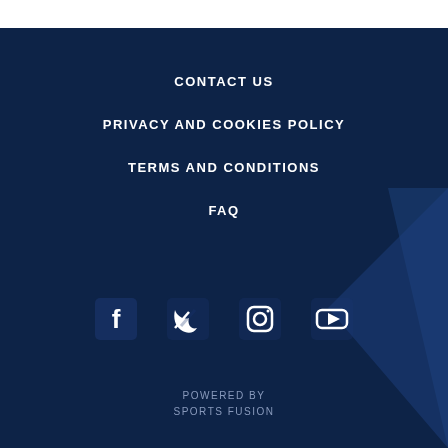CONTACT US
PRIVACY AND COOKIES POLICY
TERMS AND CONDITIONS
FAQ
[Figure (infographic): Social media icons: Facebook, Twitter, Instagram, YouTube]
POWERED BY
SPORTS FUSION